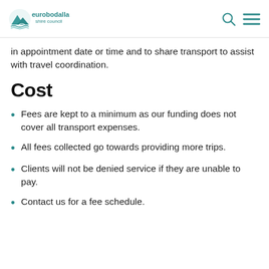eurobodalla shire council
in appointment date or time and to share transport to assist with travel coordination.
Cost
Fees are kept to a minimum as our funding does not cover all transport expenses.
All fees collected go towards providing more trips.
Clients will not be denied service if they are unable to pay.
Contact us for a fee schedule.